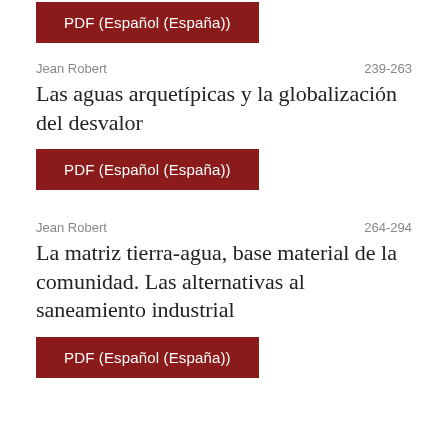[Figure (other): Red button: PDF (Español (España))]
Jean Robert
239-263
Las aguas arquetípicas y la globalización del desvalor
[Figure (other): Red button: PDF (Español (España))]
Jean Robert
264-294
La matriz tierra-agua, base material de la comunidad. Las alternativas al saneamiento industrial
[Figure (other): Red button: PDF (Español (España))]